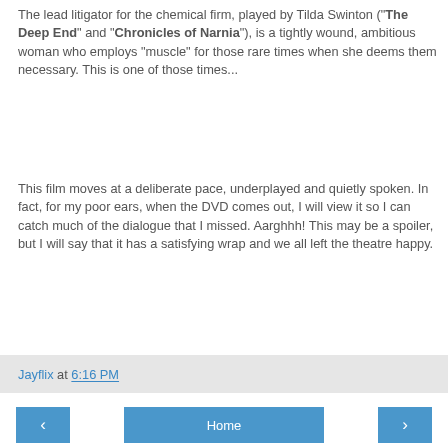The lead litigator for the chemical firm, played by Tilda Swinton ("The Deep End" and "Chronicles of Narnia"), is a tightly wound, ambitious woman who employs "muscle" for those rare times when she deems them necessary. This is one of those times...
This film moves at a deliberate pace, underplayed and quietly spoken. In fact, for my poor ears, when the DVD comes out, I will view it so I can catch much of the dialogue that I missed. Aarghhh! This may be a spoiler, but I will say that it has a satisfying wrap and we all left the theatre happy.
Jayflix at 6:16 PM
[Figure (other): Navigation bar with back arrow button, Home button, and forward arrow button]
View web version
Powered by Blogger.